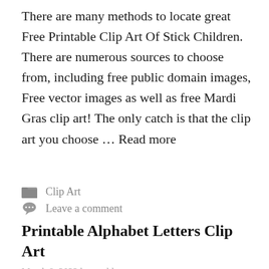There are many methods to locate great Free Printable Clip Art Of Stick Children. There are numerous sources to choose from, including free public domain images, Free vector images as well as free Mardi Gras clip art! The only catch is that the clip art you choose … Read more
Clip Art
Leave a comment
Printable Alphabet Letters Clip Art
March 8, 2022 by tamble